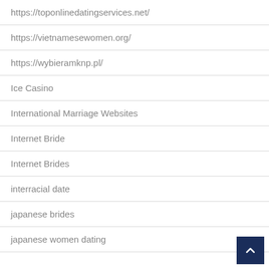https://toponlinedatingservices.net/
https://vietnamesewomen.org/
https://wybieramknp.pl/
Ice Casino
International Marriage Websites
Internet Bride
Internet Brides
interracial date
japanese brides
japanese women dating